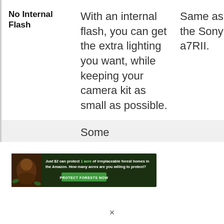| Feature | Description | Comparison |
| --- | --- | --- |
| No Internal Flash | With an internal flash, you can get the extra lighting you want, while keeping your camera kit as small as possible. | Same as the Sony a7RII. |
|  | Some |  |
[Figure (infographic): Advertisement banner: 'Just $2 can protect 1 acre of irreplaceable forest homes in the Amazon. How many acres are you willing to protect?' with a green 'PROTECT FORESTS NOW' button, featuring an image of forest/orangutan.]
×